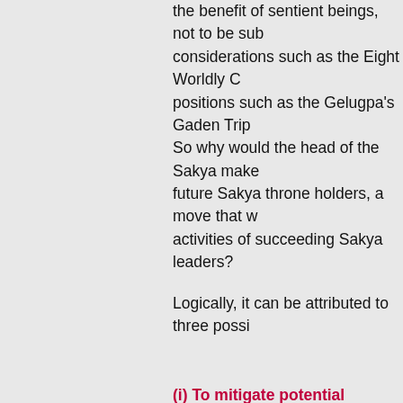the benefit of sentient beings, not to be subject to considerations such as the Eight Worldly Concerns, positions such as the Gelugpa's Gaden Tripa. So why would the head of the Sakya make a future Sakya throne holders, a move that w activities of succeeding Sakya leaders?
Logically, it can be attributed to three possi
(i) To mitigate potential discord between th
While we have not heard of any public disp Phodrang and the Phuntsok Phodrang, we Khön family divided into these two separat century and that itself hints at some interna simmering.
It does not help that the present Sakya Trizi in currying favor with the Dalai Lama estab Tibetan Administration (CTA) than to atten teachings, practice and esteem of the Saky statement itself suggests that he has are